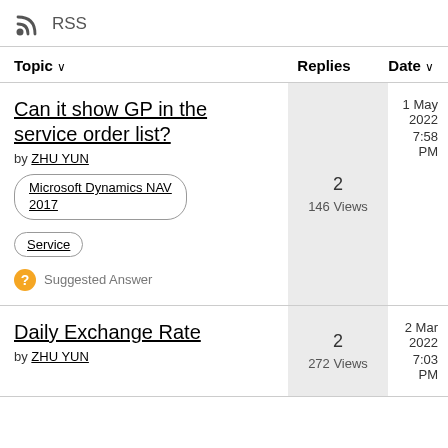RSS
| Topic ↓ | Replies | Date ↓ |
| --- | --- | --- |
| Can it show GP in the service order list? by ZHU YUN | Microsoft Dynamics NAV 2017 | Service | Suggested Answer | 2
146 Views | 1 May 2022
7:58 PM |
| Daily Exchange Rate by ZHU YUN | 2
272 Views | 2 Mar 2022
7:03 PM |